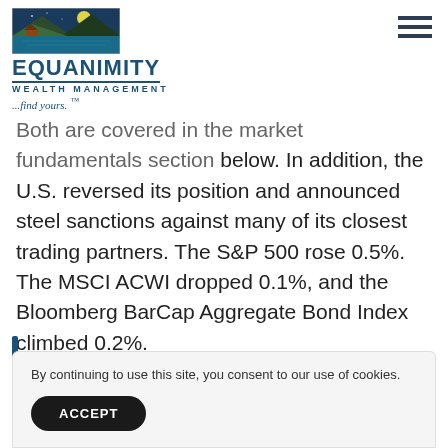[Figure (logo): Equanimity Wealth Management logo with mountain/lake illustration, company name, tagline '...find yours. TM']
Both are covered in the market fundamentals section below. In addition, the U.S. reversed its position and announced steel sanctions against many of its closest trading partners. The S&P 500 rose 0.5%. The MSCI ACWI dropped 0.1%, and the Bloomberg BarCap Aggregate Bond Index climbed 0.2%.
By continuing to use this site, you consent to our use of cookies.